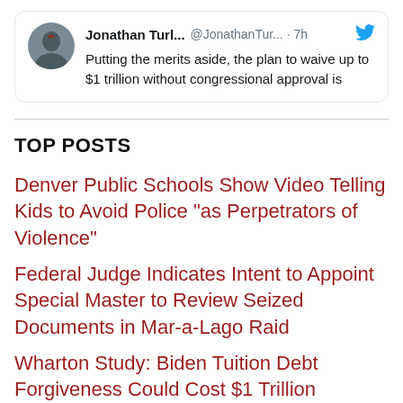[Figure (screenshot): Tweet card from Jonathan Turl... @JonathanTur... · 7h with Twitter bird icon. Text: Putting the merits aside, the plan to waive up to $1 trillion without congressional approval is]
TOP POSTS
Denver Public Schools Show Video Telling Kids to Avoid Police "as Perpetrators of Violence"
Federal Judge Indicates Intent to Appoint Special Master to Review Seized Documents in Mar-a-Lago Raid
Wharton Study: Biden Tuition Debt Forgiveness Could Cost $1 Trillion
Rorschach Redactions: What Did Not Happen